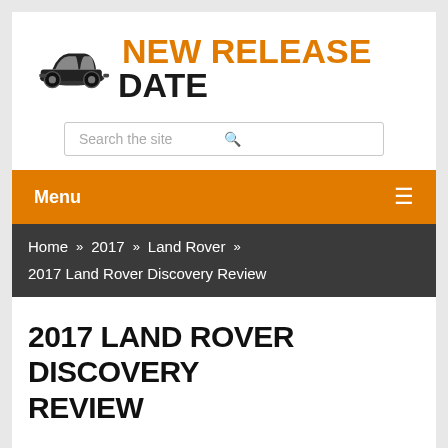[Figure (logo): New Release Date website logo with a black classic car silhouette on the left and orange and black bold text reading NEW RELEASE DATE on the right]
Search the site
Menu
Home » 2017 » Land Rover » 2017 Land Rover Discovery Review
2017 LAND ROVER DISCOVERY REVIEW